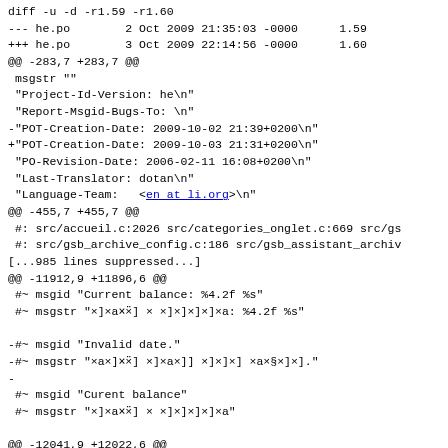diff -u -d -r1.59 -r1.60
--- he.po        2 Oct 2009 21:35:03 -0000      1.59
+++ he.po        3 Oct 2009 22:14:56 -0000      1.60
@@ -283,7 +283,7 @@
 msgstr ""
 "Project-Id-Version: he\n"
 "Report-Msgid-Bugs-To: \n"
-"POT-Creation-Date: 2009-10-02 21:39+0200\n"
+"POT-Creation-Date: 2009-10-03 21:31+0200\n"
 "PO-Revision-Date: 2006-02-11 16:08+0200\n"
 "Last-Translator: dotan\n"
 "Language-Team:   <en at li.org>\n"
@@ -455,7 +455,7 @@
 #: src/accueil.c:2026 src/categories_onglet.c:669 src/gs
 #: src/gsb_archive_config.c:186 src/gsb_assistant_archiv
[...985 lines suppressed...]
@@ -11912,9 +11896,6 @@
 #~ msgid "Current balance: %4.2f %s"
 #~ msgstr "× ×ª×  × × × × × ×ª: %4.2f %s"

-#~ msgid "Invalid date."
-#~ msgstr "×ª× × ×  × × ×  ×ª×§× × ."
-
 #~ msgid "Curent balance"
 #~ msgstr "× ×ª×  × × × × × ×ª"

@@ -12041,9 +12022,6 @@
 #~ msgid "Just delete this third party."
 #~ msgstr "× ×§ × × ×§ × × × ×§ × ×¡× × ×©×  × ×©×  × × × ×  × × × "